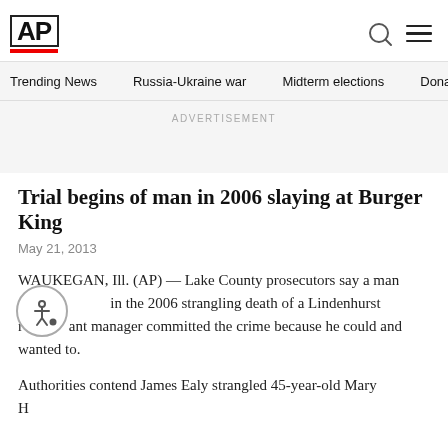AP
Trending News  Russia-Ukraine war  Midterm elections  Dona
ADVERTISEMENT
Trial begins of man in 2006 slaying at Burger King
May 21, 2013
WAUKEGAN, Ill. (AP) — Lake County prosecutors say a man charged in the 2006 strangling death of a Lindenhurst restaurant manager committed the crime because he could and wanted to.
Authorities contend James Ealy strangled 45-year-old Mary Hutchinson of Zion to...